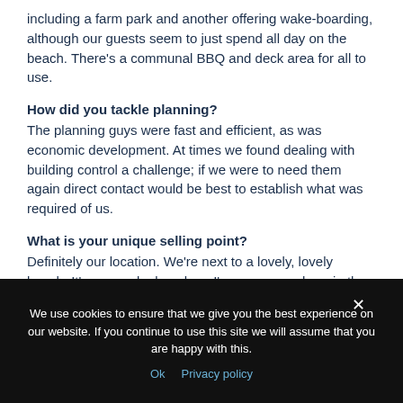including a farm park and another offering wake-boarding, although our guests seem to just spend all day on the beach. There's a communal BBQ and deck area for all to use.
How did you tackle planning?
The planning guys were fast and efficient, as was economic development. At times we found dealing with building control a challenge; if we were to need them again direct contact would be best to establish what was required of us.
What is your unique selling point?
Definitely our location. We're next to a lovely, lovely beach. It's as good a beach as I've seen anywhere in the world. Added to that we've a fabulous landscape.
We use cookies to ensure that we give you the best experience on our website. If you continue to use this site we will assume that you are happy with this.